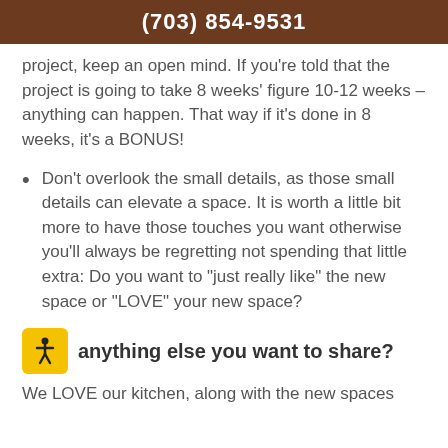(703) 854-9531
project, keep an open mind. If you’re told that the project is going to take 8 weeks’ figure 10-12 weeks – anything can happen. That way if it’s done in 8 weeks, it’s a BONUS!
Don’t overlook the small details, as those small details can elevate a space. It is worth a little bit more to have those touches you want otherwise you’ll always be regretting not spending that little extra: Do you want to “just really like” the new space or “LOVE” your new space?
anything else you want to share?
We LOVE our kitchen, along with the new spaces